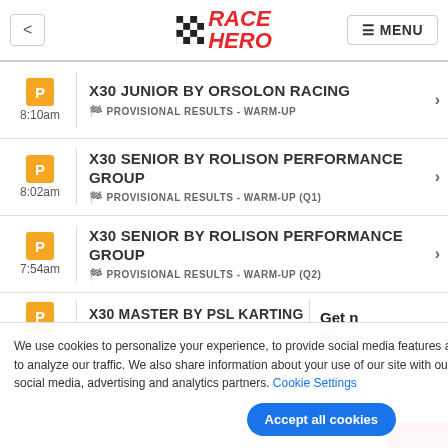< RACE HERO ☰ MENU
X30 JUNIOR BY ORSOLON RACING — PROVISIONAL RESULTS - WARM-UP — 8:10am
X30 SENIOR BY ROLISON PERFORMANCE GROUP — PROVISIONAL RESULTS - WARM-UP (Q1) — 8:02am
X30 SENIOR BY ROLISON PERFORMANCE GROUP — PROVISIONAL RESULTS - WARM-UP (Q2) — 7:54am
X30 MASTER BY PSL KARTING (partial)
We use cookies to personalize your experience, to provide social media features and to analyze our traffic. We also share information about your use of our site with our social media, advertising and analytics partners. Cookie Settings
Get n Race Enter y Accept all cookies